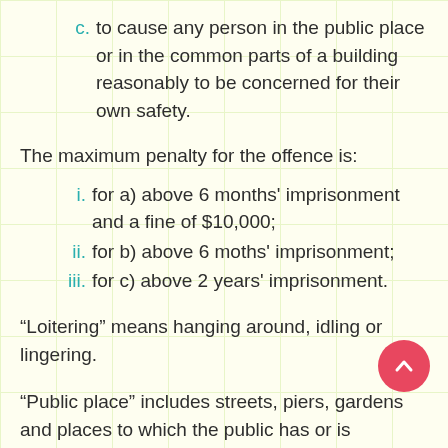c. to cause any person in the public place or in the common parts of a building reasonably to be concerned for their own safety.
The maximum penalty for the offence is:
i. for a) above 6 months' imprisonment and a fine of $10,000;
ii. for b) above 6 moths' imprisonment;
iii. for c) above 2 years' imprisonment.
“Loitering” means hanging around, idling or lingering.
“Public place” includes streets, piers, gardens and places to which the public has or is permitted access...